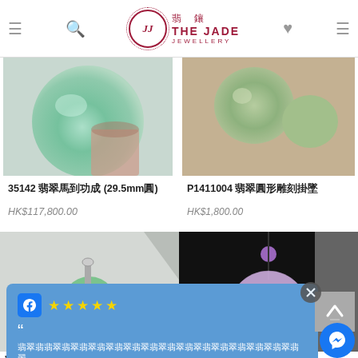[Figure (logo): The Jade Jewellery logo with Chinese characters 翡鑲, circular ornate border with JJ initials, and JEWELLERY subtitle]
[Figure (photo): Green jade sphere/ball held in hand, close-up photo]
35142 翡翠馬到功成 (29.5mm圓)
HK$117,800.00
[Figure (photo): Green jade beads/stones on wooden surface, top-down view]
P1411004 翡翠圓形雕刻掛墜
HK$1,800.00
[Figure (photo): Green jade pendant with silver bail, on grey background]
[Figure (photo): Lavender jade carved pendant with purple bead, on black background]
[Figure (screenshot): Facebook review popup overlay with 5 stars, Chinese text review, by JASVAN SO 11 months ago]
J1670 翡翠觀音+鑲18K金
716316 翡翠